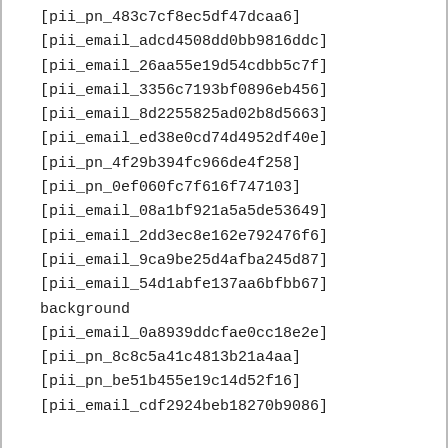[pii_pn_483c7cf8ec5df47dcaa6]
[pii_email_adcd4508dd0bb9816ddc]
[pii_email_26aa55e19d54cdbb5c7f]
[pii_email_3356c7193bf0896eb456]
[pii_email_8d2255825ad02b8d5663]
[pii_email_ed38e0cd74d4952df40e]
[pii_pn_4f29b394fc966de4f258]
[pii_pn_0ef060fc7f616f747103]
[pii_email_08a1bf921a5a5de53649]
[pii_email_2dd3ec8e162e792476f6]
[pii_email_9ca9be25d4afba245d87]
[pii_email_54d1abfe137aa6bfbb67]
background
[pii_email_0a8939ddcfae0cc18e2e]
[pii_pn_8c8c5a41c4813b21a4aa]
[pii_pn_be51b455e19c14d52f16]
[pii_email_cdf2924beb18270b9086]